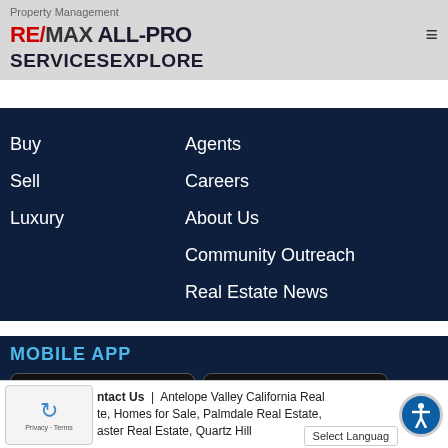Property Management
RE/MAX ALL-PRO
SERVICESEXPLORE
Buy
Sell
Luxury
Agents
Careers
About Us
Community Outreach
Real Estate News
MOBILE APP
[Figure (screenshot): Download on the App Store button and Get it on Google Play button]
Contact Us | Antelope Valley California Real Estate, Homes for Sale, Palmdale Real Estate, Lancaster Real Estate, Quartz Hill